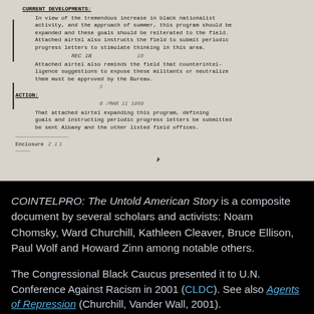[Figure (photo): Scanned FBI COINTELPRO document page showing typed text with handwritten annotations, stamps, and signatures. Contains sections labeled CURRENT DEVELOPMENTS and ACTION with text about black nationalist activity, expanding the program, and instructions about airtel and field offices.]
COINTELPRO: The Untold American Story is a composite document by several scholars and activists: Noam Chomsky, Ward Churchill, Kathleen Cleaver, Bruce Ellison, Paul Wolf and Howard Zinn among notable others.
The Congressional Black Caucus presented it to U.N. Conference Against Racism in 2001 (CLDC). See also Agents of Repression (Churchill, Vander Wall, 2001).